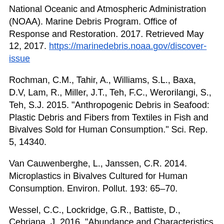National Oceanic and Atmospheric Administration (NOAA). Marine Debris Program. Office of Response and Restoration. 2017. Retrieved May 12, 2017. https://marinedebris.noaa.gov/discover-issue
Rochman, C.M., Tahir, A., Williams, S.L., Baxa, D.V, Lam, R., Miller, J.T., Teh, F.C., Werorilangi, S., Teh, S.J. 2015. "Anthropogenic Debris in Seafood: Plastic Debris and Fibers from Textiles in Fish and Bivalves Sold for Human Consumption." Sci. Rep. 5, 14340.
Van Cauwenberghe, L., Janssen, C.R. 2014. Microplastics in Bivalves Cultured for Human Consumption. Environ. Pollut. 193: 65–70.
Wessel, C.C., Lockridge, G.R., Battiste, D., Cebriana, J. 2016. "Abundance and Characteristics of Microplastics in Beach Sediments: Insights into Microplastic Accumulation in Northern Gulf of Mexico Estuaries." Marine Pollution Bulletin 109.1 (2016): 178–83.